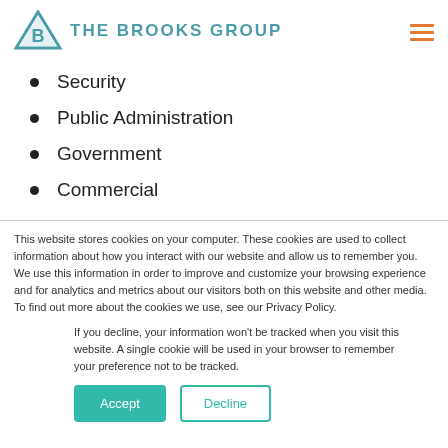THE BROOKS GROUP
Security
Public Administration
Government
Commercial
This website stores cookies on your computer. These cookies are used to collect information about how you interact with our website and allow us to remember you. We use this information in order to improve and customize your browsing experience and for analytics and metrics about our visitors both on this website and other media. To find out more about the cookies we use, see our Privacy Policy.
If you decline, your information won’t be tracked when you visit this website. A single cookie will be used in your browser to remember your preference not to be tracked.